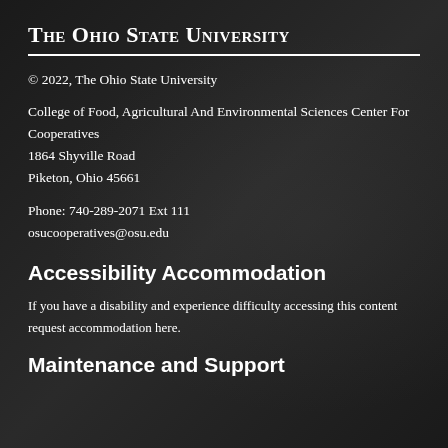The Ohio State University
© 2022, The Ohio State University
College of Food, Agricultural And Environmental Sciences Center For Cooperatives
1864 Shyville Road
Piketon, Ohio 45661
Phone: 740-289-2071 Ext 111
osucooperatives@osu.edu
Accessibility Accommodation
If you have a disability and experience difficulty accessing this content request accommodation here.
Maintenance and Support